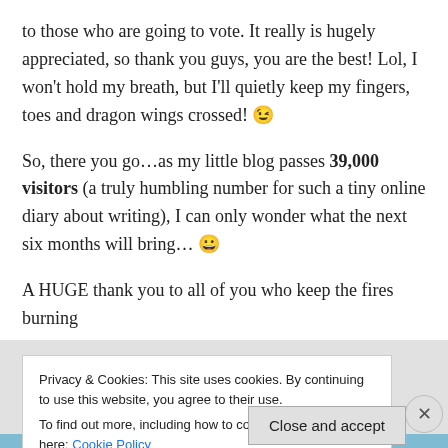to those who are going to vote. It really is hugely appreciated, so thank you guys, you are the best! Lol, I won't hold my breath, but I'll quietly keep my fingers, toes and dragon wings crossed! 😉
So, there you go…as my little blog passes 39,000 visitors (a truly humbling number for such a tiny online diary about writing), I can only wonder what the next six months will bring… 😀
A HUGE thank you to all of you who keep the fires burning
Privacy & Cookies: This site uses cookies. By continuing to use this website, you agree to their use.
To find out more, including how to control cookies, see here: Cookie Policy